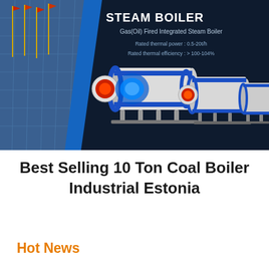[Figure (photo): Dark navy banner showing steam boilers (Gas/Oil Fired Integrated Steam Boilers) with a glass building facade on the left side featuring flagpoles, and three industrial steam boiler units in white and blue on the right. Text overlay reads STEAM BOILER, Gas(Oil) Fired Integrated Steam Boiler, Rated thermal power: 0.5-20t/h, Rated thermal efficiency: >100-104%.]
Best Selling 10 Ton Coal Boiler Industrial Estonia
Hot News